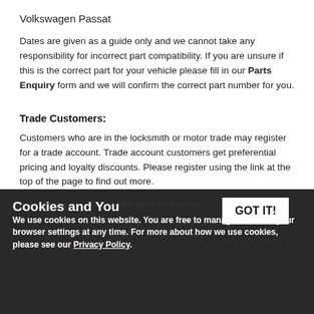Volkswagen Passat
Dates are given as a guide only and we cannot take any responsibility for incorrect part compatibility. If you are unsure if this is the correct part for your vehicle please fill in our Parts Enquiry form and we will confirm the correct part number for you.
Trade Customers:
Customers who are in the locksmith or motor trade may register for a trade account. Trade account customers get preferential pricing and loyalty discounts. Please register using the link at the top of the page to find out more.
Customers who bought this item also bought
Aftermarket Dash Remote for Volkswagen Passat - Without KESSY
$30.17
Cookies and You
We use cookies on this website. You are free to manage these via your browser settings at any time. For more about how we use cookies, please see our Privacy Policy.
GOT IT!